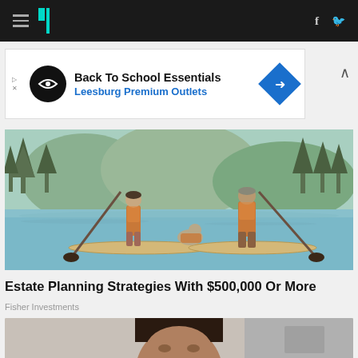HuffPost navigation bar with hamburger menu, logo, Facebook and Twitter icons
[Figure (screenshot): Advertisement banner: Back To School Essentials - Leesburg Premium Outlets]
[Figure (illustration): Illustrated image of two people paddleboarding on a lake with a dog, wearing orange life vests, surrounded by trees]
Estate Planning Strategies With $500,000 Or More
Fisher Investments
[Figure (photo): Partial photo of a person's face, cropped at bottom of page]